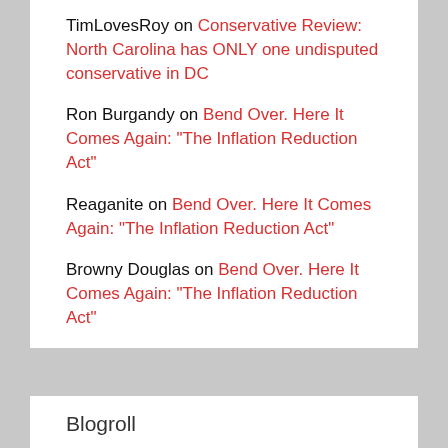TimLovesRoy on Conservative Review: North Carolina has ONLY one undisputed conservative in DC
Ron Burgandy on Bend Over. Here It Comes Again: "The Inflation Reduction Act"
Reaganite on Bend Over. Here It Comes Again: "The Inflation Reduction Act"
Browny Douglas on Bend Over. Here It Comes Again: "The Inflation Reduction Act"
Blogroll
Ace of Spades HQ
Agent Pierce Said